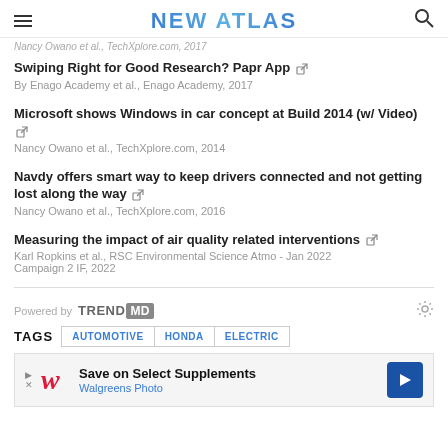NEW ATLAS
Nancy Owano et al., TechXplore.com, 2017
Swiping Right for Good Research? Papr App
By Enago Academy et al., Enago Academy, 2017
Microsoft shows Windows in car concept at Build 2014 (w/ Video)
Nancy Owano et al., TechXplore.com, 2014
Navdy offers smart way to keep drivers connected and not getting lost along the way
Nancy Owano et al., TechXplore.com, 2016
Measuring the impact of air quality related interventions
Karl Ropkins et al., RSC Environmental Science Atmo - Jan 2022 Campaign 2 IF, 2022
Powered by TRENDMD
TAGS  AUTOMOTIVE  HONDA  ELECTRIC